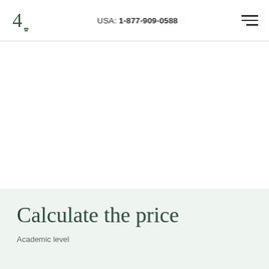USA: 1-877-909-0588
Calculate the price
Academic level